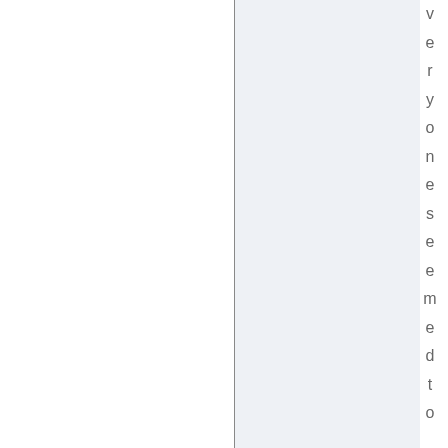v e r y o n e s e e m e d t o b e h a v i n g i s s u e s w